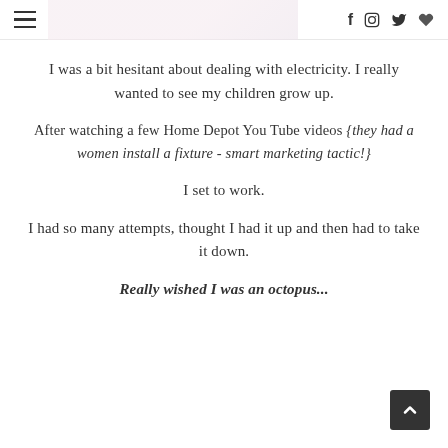≡  f  ♡  (social icons header)
I was a bit hesitant about dealing with electricity. I really wanted to see my children grow up.
After watching a few Home Depot You Tube videos {they had a women install a fixture - smart marketing tactic!}
I set to work.
I had so many attempts, thought I had it up and then had to take it down.
Really wished I was an octopus...